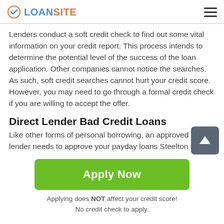LOANSITE
Lenders conduct a soft credit check to find out some vital information on your credit report. This process intends to determine the potential level of the success of the loan application. Other companies cannot notice the searches. As such, soft credit searches cannot hurt your credit score. However, you may need to go through a formal credit check if you are willing to accept the offer.
Direct Lender Bad Credit Loans
Like other forms of personal borrowing, an approved direct lender needs to approve your payday loans Steelton no
[Figure (other): Scroll-to-top button, dark grey rounded square with white upward arrow]
Apply Now
Applying does NOT affect your credit score!
No credit check to apply.